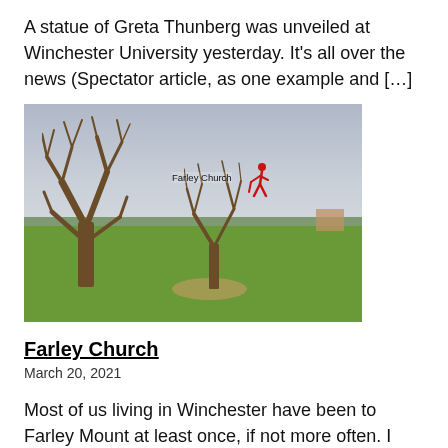A statue of Greta Thunberg was unveiled at Winchester University yesterday. It's all over the news (Spectator article, as one example and […]
[Figure (photo): Outdoor landscape photo showing two bare deciduous trees in a green field under a cloudy sky, with a label 'Farley Church' and a red hiker icon overlay]
Farley Church
March 20, 2021
Most of us living in Winchester have been to Farley Mount at least once, if not more often. I